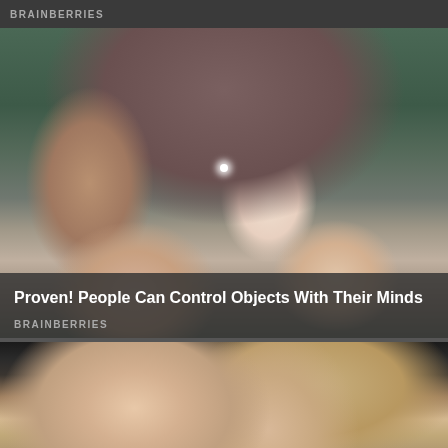BRAINBERRIES
[Figure (photo): Person with hands outstretched with a light spark effect between them, with green foliage in background]
Proven! People Can Control Objects With Their Minds
BRAINBERRIES
[Figure (photo): Close-up of a hand touching a smooth translucent amber/golden oval object on dark background]